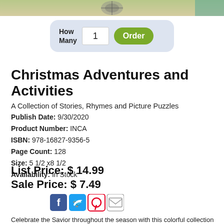[Figure (photo): Top portion of a book cover image showing decorative elements, partially cropped at top of page]
[Figure (screenshot): Order form widget with 'How Many' label, quantity input field showing 1, and green Order button, on a light blue-grey rounded rectangle background]
Christmas Adventures and Activities
A Collection of Stories, Rhymes and Picture Puzzles
Publish Date: 9/30/2020
Product Number: INCA
ISBN: 978-16827-9356-5
Page Count: 128
Size: 5 1/2 x8 1/2
Availability: In Stock
List Price: $ 14.99
Sale Price: $ 7.49
[Figure (infographic): Social media sharing icons: Facebook (blue), Twitter (blue), Pinterest (red), Email (grey outline)]
Celebrate the Savior throughout the season with this colorful collection of